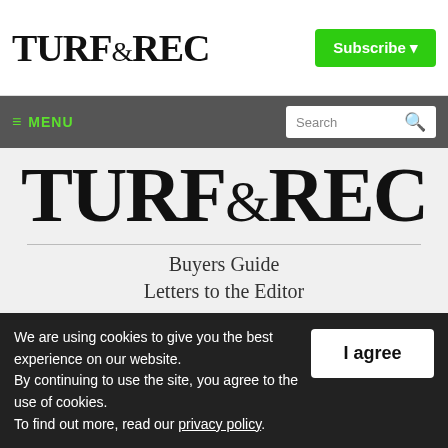TURF&REC
Subscribe ▾
≡ MENU  Search 🔍
[Figure (logo): TURF&REC large masthead logo on grey background]
Buyers Guide
Letters to the Editor
We are using cookies to give you the best experience on our website.
By continuing to use the site, you agree to the use of cookies.
To find out more, read our privacy policy.
I agree